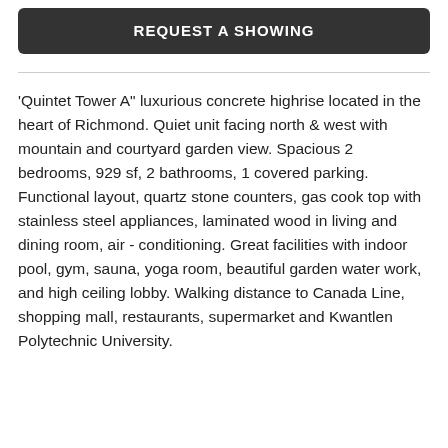REQUEST A SHOWING
'Quintet Tower A" luxurious concrete highrise located in the heart of Richmond. Quiet unit facing north & west with mountain and courtyard garden view. Spacious 2 bedrooms, 929 sf, 2 bathrooms, 1 covered parking. Functional layout, quartz stone counters, gas cook top with stainless steel appliances, laminated wood in living and dining room, air - conditioning. Great facilities with indoor pool, gym, sauna, yoga room, beautiful garden water work, and high ceiling lobby. Walking distance to Canada Line, shopping mall, restaurants, supermarket and Kwantlen Polytechnic University.